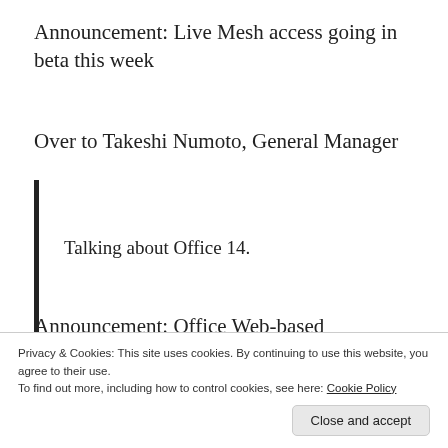Announcement: Live Mesh access going in beta this week
Over to Takeshi Numoto, General Manager
Talking about Office 14.
Announcement: Office Web-based Applications
Privacy & Cookies: This site uses cookies. By continuing to use this website, you agree to their use.
To find out more, including how to control cookies, see here: Cookie Policy
desktop applications.